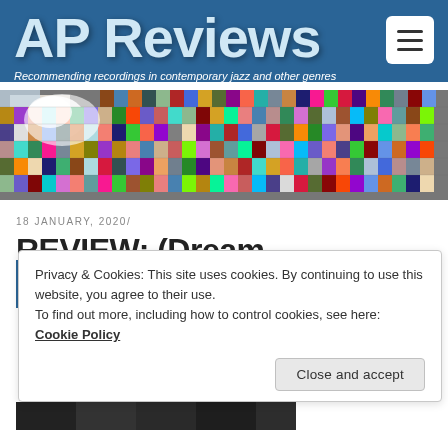AP Reviews
Recommending recordings in contemporary jazz and other genres
[Figure (photo): Mosaic grid of many small album cover thumbnails arranged in rows forming a wide banner strip]
18 JANUARY, 2020/
REVIEW: (Dream...
Privacy & Cookies: This site uses cookies. By continuing to use this website, you agree to their use.
To find out more, including how to control cookies, see here: Cookie Policy
Close and accept
[Figure (photo): Partial bottom image strip, dark/black, partially cut off at bottom of page]